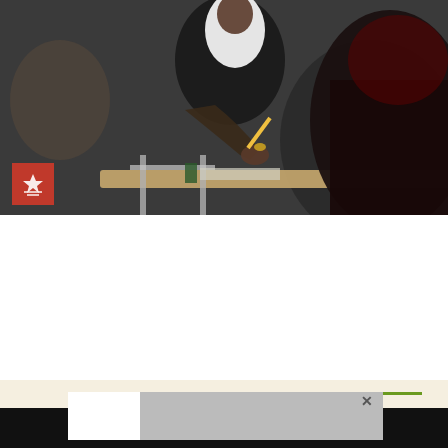[Figure (photo): Students sitting at desks in a classroom taking an exam, with a young woman in a white shirt and dark blazer holding a pencil visible in the foreground. A red badge/logo is in the lower left corner of the photo.]
MAXIMIZE YOUR PRIVATE SCHOOL SEARCH WITH THESE TIPS AND TRICKS FROM AREA EDUCATORS
It's no secret the private school search process is daunting and draining. Luckily, we're here to help.
[Figure (infographic): Partial view of a map or infographic with a beige/tan background, showing two legend color swatches in salmon/orange and green at top right.]